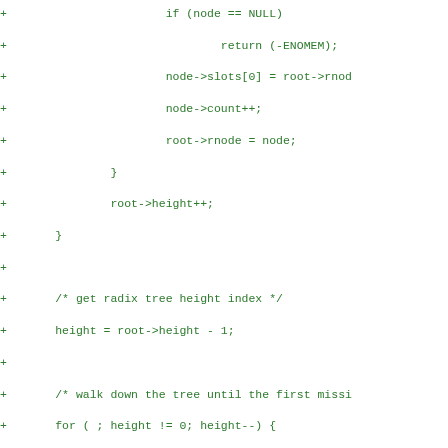[Figure (screenshot): A diff/patch code snippet in green monospace text on white background, showing C code for radix tree operations. Each line is prefixed with a '+' indicating additions. The code includes conditional checks, loops for walking down a radix tree, and memory allocation routines.]